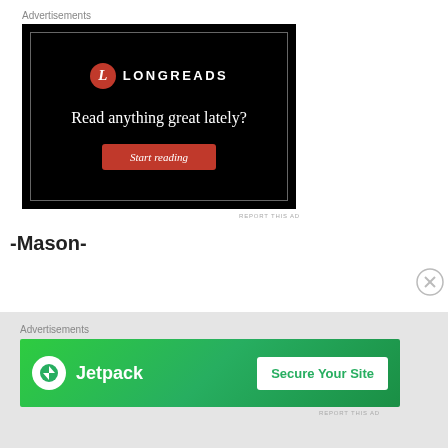Advertisements
[Figure (illustration): Longreads advertisement on black background with logo, tagline 'Read anything great lately?' and 'Start reading' button]
REPORT THIS AD
-Mason-
Advertisements
[Figure (illustration): Jetpack advertisement on green background with Jetpack logo and 'Secure Your Site' button]
REPORT THIS AD